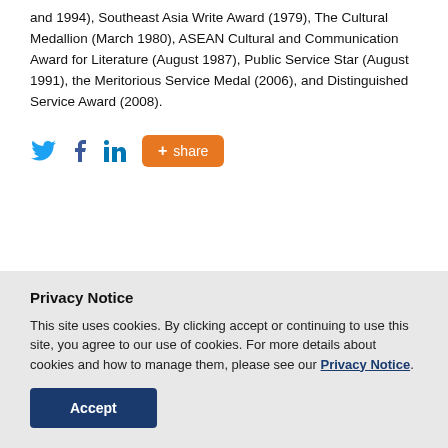and 1994), Southeast Asia Write Award (1979), The Cultural Medallion (March 1980), ASEAN Cultural and Communication Award for Literature (August 1987), Public Service Star (August 1991), the Meritorious Service Medal (2006), and Distinguished Service Award (2008).
[Figure (other): Social sharing icons: Twitter bird icon, Facebook f icon, LinkedIn in icon, and an orange rounded button with '+ share' text.]
Privacy Notice
This site uses cookies. By clicking accept or continuing to use this site, you agree to our use of cookies. For more details about cookies and how to manage them, please see our Privacy Notice.
Accept